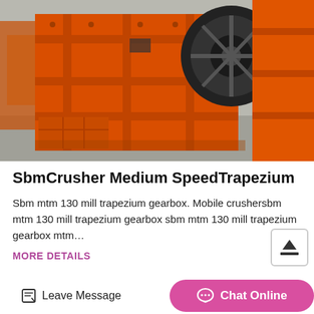[Figure (photo): Orange industrial crusher machinery (SbmCrusher Medium Speed Trapezium mill) with large black flywheel, photographed in a factory/warehouse setting on a concrete floor.]
SbmCrusher Medium SpeedTrapezium
Sbm mtm 130 mill trapezium gearbox. Mobile crushersbm mtm 130 mill trapezium gearbox sbm mtm 130 mill trapezium gearbox mtm…
MORE DETAILS
Leave Message
Chat Online